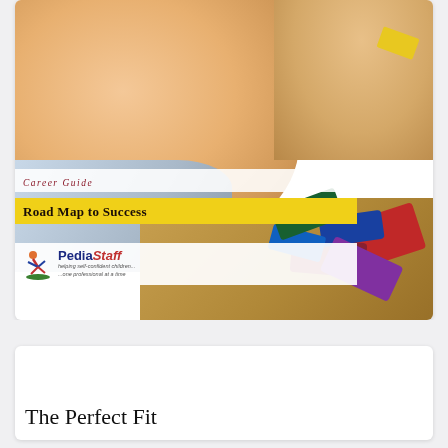[Figure (photo): A baby/toddler leaning over a wooden puzzle board with colorful puzzle pieces (red, blue, green). The baby is wearing a light blue shirt and appears engaged with the puzzle. A hand in the upper right holds a yellow piece. Overlaid on the lower portion of the image are branded banners: 'Career Guide' in italic maroon text on white, 'Road Map to Success' in bold dark text on a yellow banner, and the PediaStaff logo (blue and red text with a cartoon figure doing a cartwheel, and tagline 'helping self-confident children...one professional at a time') on a white banner.]
The Perfect Fit